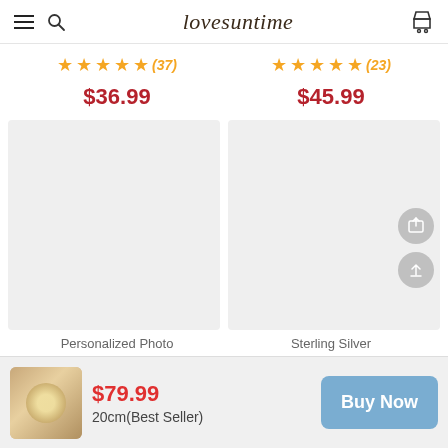lovesuntime
(37) $36.99   (23) $45.99
[Figure (photo): Two product image placeholders side by side (light gray boxes)]
Personalized Photo   Sterling Silver
[Figure (photo): Bottom sticky bar with product thumbnail, price $79.99, 20cm(Best Seller), and Buy Now button]